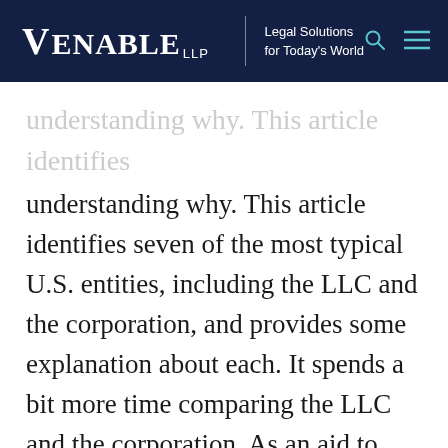VENABLE LLP | Legal Solutions for Today's World
understanding why. This article identifies seven of the most typical U.S. entities, including the LLC and the corporation, and provides some explanation about each. It spends a bit more time comparing the LLC and the corporation. As an aid to foreign entities that may be unfamiliar with the U.S. system, it provides additional recommendations on issues to consider as one enters the U.S. market.